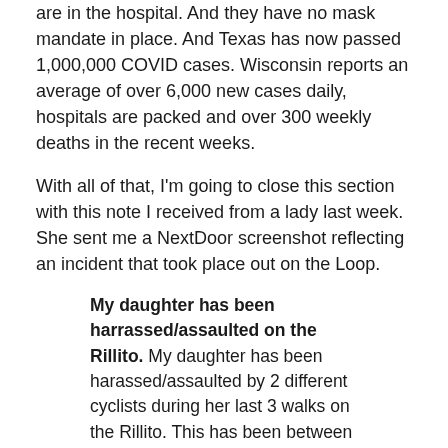are in the hospital. And they have no mask mandate in place. And Texas has now passed 1,000,000 COVID cases. Wisconsin reports an average of over 6,000 new cases daily, hospitals are packed and over 300 weekly deaths in the recent weeks.
With all of that, I'm going to close this section with this note I received from a lady last week. She sent me a NextDoor screenshot reflecting an incident that took place out on the Loop.
My daughter has been harrassed/assaulted on the Rillito. My daughter has been harassed/assaulted by 2 different cyclists during her last 3 walks on the Rillito. This has been between 2-4 in the afternoon between Campbell and Country Club on the south side. Today some fine "gentleman" slowed down to cough in her face. My best guess is that these poor excuses for human beings are offended by her wearing a mask. If any of these bullies are reading this- you should be ashamed of yourselves. I am seriously considering having her carry some wasp killer for the next time you assault her.